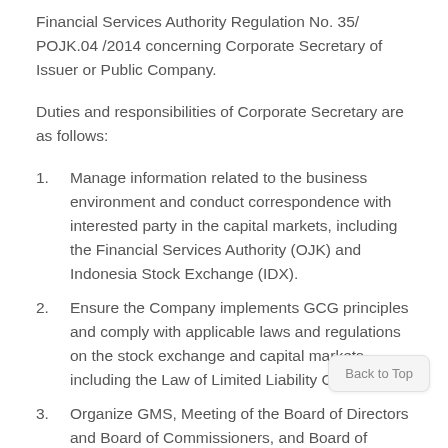Financial Services Authority Regulation No. 35/POJK.04 /2014 concerning Corporate Secretary of Issuer or Public Company.
Duties and responsibilities of Corporate Secretary are as follows:
Manage information related to the business environment and conduct correspondence with interested party in the capital markets, including the Financial Services Authority (OJK) and Indonesia Stock Exchange (IDX).
Ensure the Company implements GCG principles and comply with applicable laws and regulations on the stock exchange and capital markets, including the Law of Limited Liability Company.
Organize GMS, Meeting of the Board of Directors and Board of Commissioners, and Board of